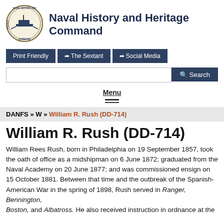[Figure (logo): Naval History and Heritage Command circular seal/logo with ship illustration]
Naval History and Heritage Command
[Figure (screenshot): Navigation buttons: Print Friendly, The Sextant, Social Media]
[Figure (screenshot): Search bar with Search button]
Menu
DANFS » W » William R. Rush (DD-714)
William R. Rush (DD-714)
William Rees Rush, born in Philadelphia on 19 September 1857, took the oath of office as a midshipman on 6 June 1872; graduated from the Naval Academy on 20 June 1877; and was commissioned ensign on 15 October 1881. Between that time and the outbreak of the Spanish-American War in the spring of 1898, Rush served in Ranger, Bennington, Boston, and Albatross. He also received instruction in ordnance at the